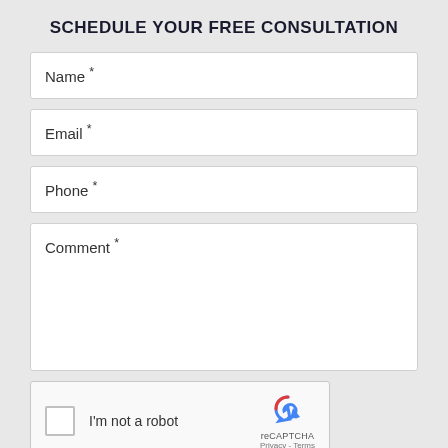SCHEDULE YOUR FREE CONSULTATION
Name *
Email *
Phone *
Comment *
[Figure (other): reCAPTCHA widget with checkbox labeled I'm not a robot and reCAPTCHA logo with Privacy and Terms links]
SUBMIT